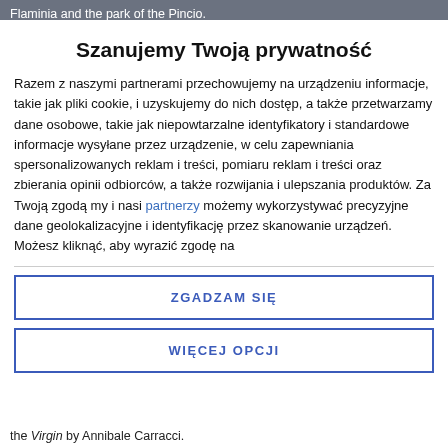Flaminia and the park of the Pincio.
Szanujemy Twoją prywatność
Razem z naszymi partnerami przechowujemy na urządzeniu informacje, takie jak pliki cookie, i uzyskujemy do nich dostęp, a także przetwarzamy dane osobowe, takie jak niepowtarzalne identyfikatory i standardowe informacje wysyłane przez urządzenie, w celu zapewniania spersonalizowanych reklam i treści, pomiaru reklam i treści oraz zbierania opinii odbiorców, a także rozwijania i ulepszania produktów. Za Twoją zgodą my i nasi partnerzy możemy wykorzystywać precyzyjne dane geolokalizacyjne i identyfikację przez skanowanie urządzeń. Możesz kliknąć, aby wyrazić zgodę na
ZGADZAM SIĘ
WIĘCEJ OPCJI
the Virgin by Annibale Carracci.